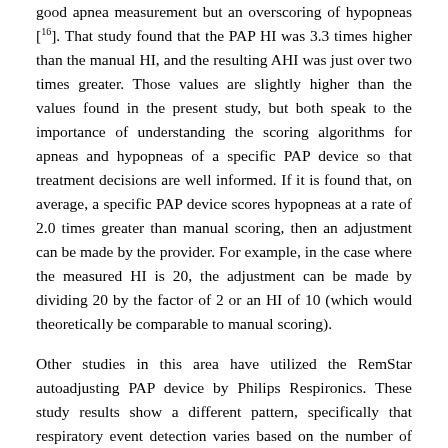good apnea measurement but an overscoring of hypopneas [16]. That study found that the PAP HI was 3.3 times higher than the manual HI, and the resulting AHI was just over two times greater. Those values are slightly higher than the values found in the present study, but both speak to the importance of understanding the scoring algorithms for apneas and hypopneas of a specific PAP device so that treatment decisions are well informed. If it is found that, on average, a specific PAP device scores hypopneas at a rate of 2.0 times greater than manual scoring, then an adjustment can be made by the provider. For example, in the case where the measured HI is 20, the adjustment can be made by dividing 20 by the factor of 2 or an HI of 10 (which would theoretically be comparable to manual scoring).
Other studies in this area have utilized the RemStar autoadjusting PAP device by Philips Respironics. These study results show a different pattern, specifically that respiratory event detection varies based on the number of events. For